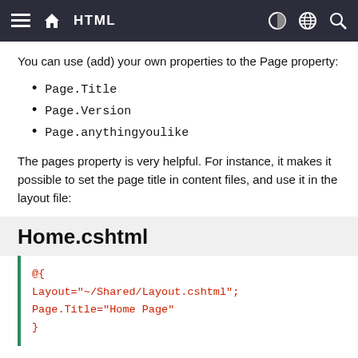HTML
You can use (add) your own properties to the Page property:
Page.Title
Page.Version
Page.anythingyoulike
The pages property is very helpful. For instance, it makes it possible to set the page title in content files, and use it in the layout file:
Home.cshtml
@{
Layout="~/Shared/Layout.cshtml";
Page.Title="Home Page"
}